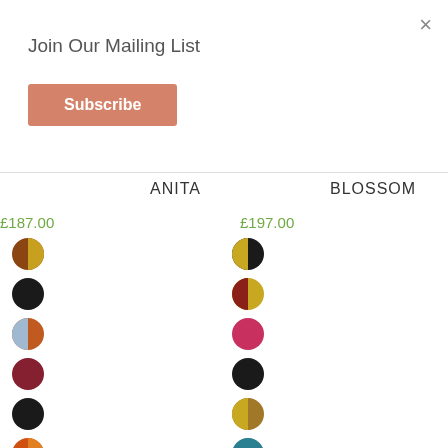×
Join Our Mailing List
Subscribe
ANITA
BLOSSOM
£187.00
£197.00
[Figure (other): Color swatches for ANITA and BLOSSOM product color options. ANITA left column: brown/yellow split, black, blue/orange split, dark red, black, orange/red, dark red/crimson, teal, black/red split, dark pink/red. BLOSSOM right column: yellow/black split, dark red/yellow split, hot pink, black, yellow/brown split, teal/grey striped, purple/gold striped, sage green, muted green, cream/ivory.]